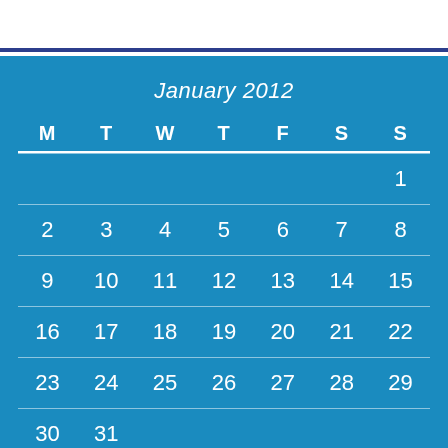January 2012
| M | T | W | T | F | S | S |
| --- | --- | --- | --- | --- | --- | --- |
|  |  |  |  |  |  | 1 |
| 2 | 3 | 4 | 5 | 6 | 7 | 8 |
| 9 | 10 | 11 | 12 | 13 | 14 | 15 |
| 16 | 17 | 18 | 19 | 20 | 21 | 22 |
| 23 | 24 | 25 | 26 | 27 | 28 | 29 |
| 30 | 31 |  |  |  |  |  |